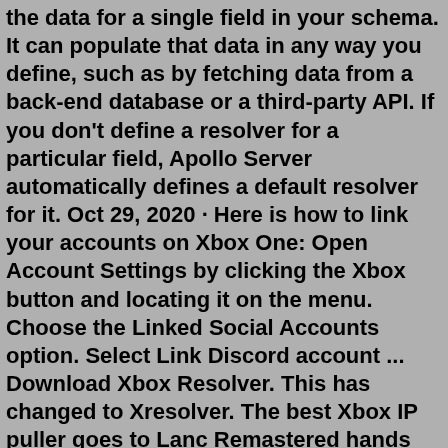the data for a single field in your schema. It can populate that data in any way you define, such as by fetching data from a back-end database or a third-party API. If you don't define a resolver for a particular field, Apollo Server automatically defines a default resolver for it. Oct 29, 2020 · Here is how to link your accounts on Xbox One: Open Account Settings by clicking the Xbox button and locating it on the menu. Choose the Linked Social Accounts option. Select Link Discord account ... Download Xbox Resolver. This has changed to Xresolver. The best Xbox IP puller goes to Lanc Remastered hands down, due to its ease of use and effectively pulling IP's without any hassles.You...IP Grabber. Dalenryder Media. Utilities & tools. |. (7) Free. Description. Get your IP Address with this app. Fast and Easy. This simple tool simply shows you your current IP-Address. Y: Xbox Resolver Xbox Resolver allows gamers to find IP addresses of specific players in your party chat or in-game session. Advertisements Although we try to be precise with the lookup location